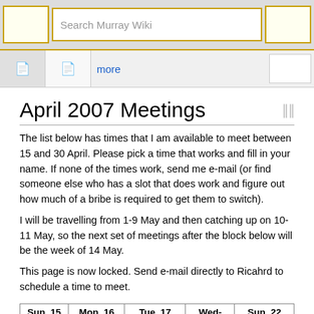Search Murray Wiki
April 2007 Meetings
The list below has times that I am available to meet between 15 and 30 April. Please pick a time that works and fill in your name. If none of the times work, send me e-mail (or find someone else who has a slot that does work and figure out how much of a bribe is required to get them to switch).
I will be travelling from 1-9 May and then catching up on 10-11 May, so the next set of meetings after the block below will be the week of 14 May.
This page is now locked. Send e-mail directly to Ricahrd to schedule a time to meet.
| Sun, 15 Apr | Mon, 16 Apr | Tue, 17 April | Wed-Fri | Sun, 22 Apr |
| --- | --- | --- | --- | --- |
| 5:00p Open | 10:30a Pete | 10:00a Melvin | Princeton | 3:00p Danielle |
| 6:00p Open | 11:30a Henrik (20m) | 11:00a Stefano |  | 4:00p Nok |